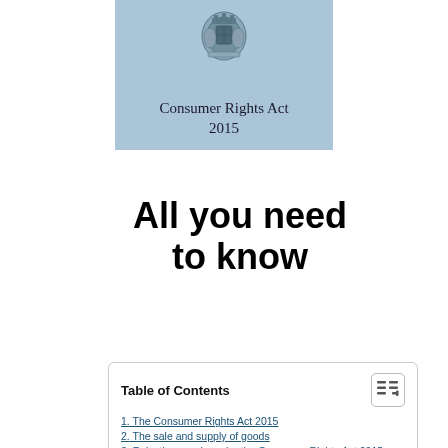[Figure (illustration): UK Government coat of arms crest above the text 'Consumer Rights Act 2015' on a light blue background cover image]
All you need to know
Table of Contents
1. The Consumer Rights Act 2015
2. The sale and supply of goods
3. Rejecting goods under the Consumer Rights Act 2015